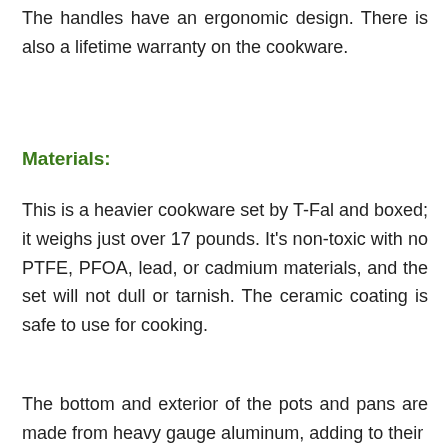The handles have an ergonomic design. There is also a lifetime warranty on the cookware.
Materials:
This is a heavier cookware set by T-Fal and boxed; it weighs just over 17 pounds. It's non-toxic with no PTFE, PFOA, lead, or cadmium materials, and the set will not dull or tarnish. The ceramic coating is safe to use for cooking.
The bottom and exterior of the pots and pans are made from heavy gauge aluminum, adding to their